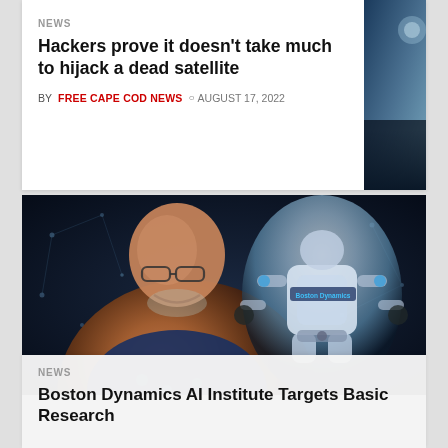NEWS
Hackers prove it doesn't take much to hijack a dead satellite
BY FREE CAPE COD NEWS  © AUGUST 17, 2022
[Figure (photo): A smiling bald man with glasses and a blue floral shirt in the foreground, with a Boston Dynamics robot in the background against a dark network-dot graphic backdrop.]
NEWS
Boston Dynamics AI Institute Targets Basic Research